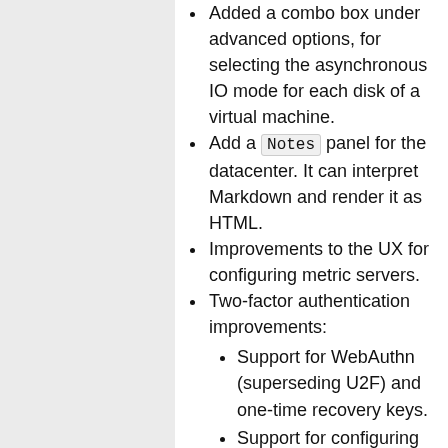Added a combo box under advanced options, for selecting the asynchronous IO mode for each disk of a virtual machine.
Add a Notes panel for the datacenter. It can interpret Markdown and render it as HTML.
Improvements to the UX for configuring metric servers.
Two-factor authentication improvements:
Support for WebAuthn (superseding U2F) and one-time recovery keys.
Support for configuring multiple factors for a single account.
Improved translations, among others: